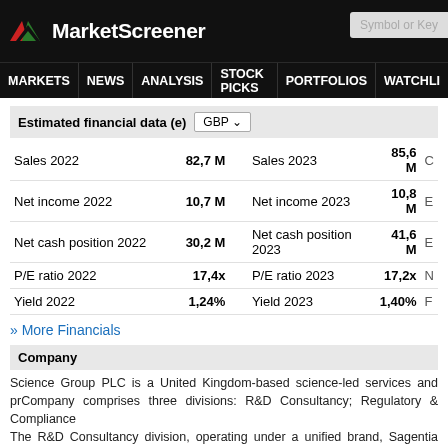MarketScreener
MARKETS NEWS ANALYSIS STOCK PICKS PORTFOLIOS WATCHLI
Estimated financial data (e) GBP
| Metric | Value | Metric | Value |
| --- | --- | --- | --- |
| Sales 2022 | 82,7 M | Sales 2023 | 85,6 M |
| Net income 2022 | 10,7 M | Net income 2023 | 10,8 M |
| Net cash position 2022 | 30,2 M | Net cash position 2023 | 41,6 M |
| P/E ratio 2022 | 17,4x | P/E ratio 2023 | 17,2x |
| Yield 2022 | 1,24% | Yield 2023 | 1,40% |
» More Financials
Company
Science Group PLC is a United Kingdom-based science-led services and pr... Company comprises three divisions: R&D Consultancy; Regulatory & Compliance... The R&D Consultancy division, operating under a unified brand, Sagentia Inno... advisory and product/technology development services. The division combines sci...
Sector
Business Support Services
Calendar
03/07  Earnings Rele...